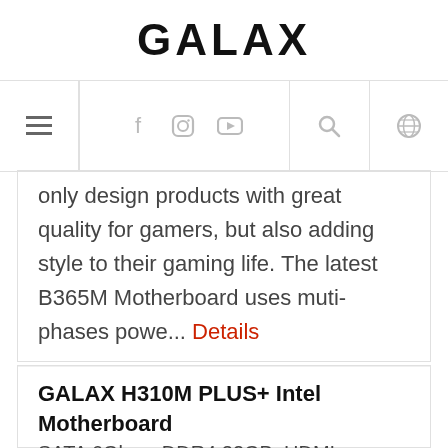GALAX
Navigation bar with menu, social icons (Facebook, Instagram, YouTube), search, and globe/language icons
only design products with great quality for gamers, but also adding style to their gaming life. The latest B365M Motherboard uses muti-phases powe... Details
GALAX H310M PLUS+ Intel Motherboard
SATA 6Gbps, DDR4 32GB, HDMI,